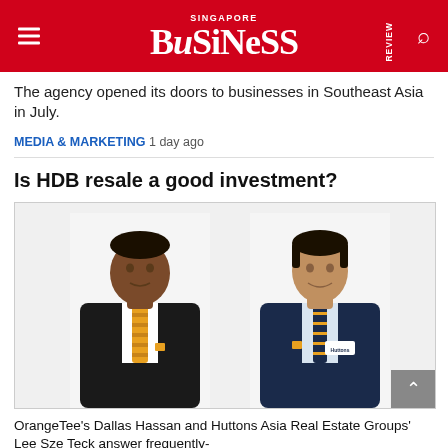SINGAPORE BUSINESS REVIEW
The agency opened its doors to businesses in Southeast Asia in July.
MEDIA & MARKETING 1 day ago
Is HDB resale a good investment?
[Figure (photo): Two professional men in suits with ties, one from OrangeTee and one from Huttons Asia, posing for a professional portrait photo]
OrangeTee's Dallas Hassan and Huttons Asia Real Estate Groups' Lee Sze Teck answer frequently-